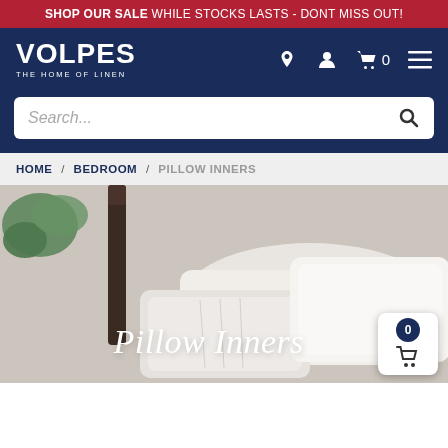SHOP OUR SALE WHILE STOCKS LASTS - DONT MISS OUT!
[Figure (logo): Volpes - The Home of Linen logo in white on dark navy background with navigation icons]
Search...
HOME / BEDROOM / PILLOW INNERS
[Figure (photo): Hero image of white pillows on a bed with dark metal headboard and green plant, with 'Pillow Inners' text overlay in white italic script]